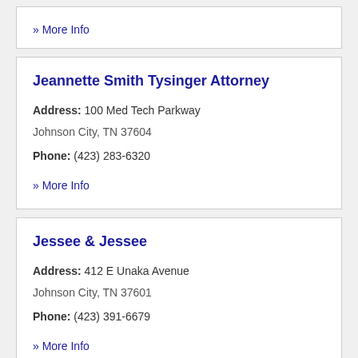» More Info
Jeannette Smith Tysinger Attorney
Address: 100 Med Tech Parkway Johnson City, TN 37604
Phone: (423) 283-6320
» More Info
Jessee & Jessee
Address: 412 E Unaka Avenue Johnson City, TN 37601
Phone: (423) 391-6679
» More Info